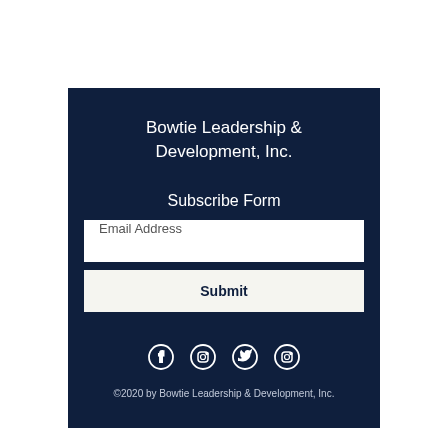Bowtie Leadership & Development, Inc.
Subscribe Form
Email Address
Submit
[Figure (illustration): Social media icons: Facebook, Instagram, Twitter, Instagram]
©2020 by Bowtie Leadership & Development, Inc.